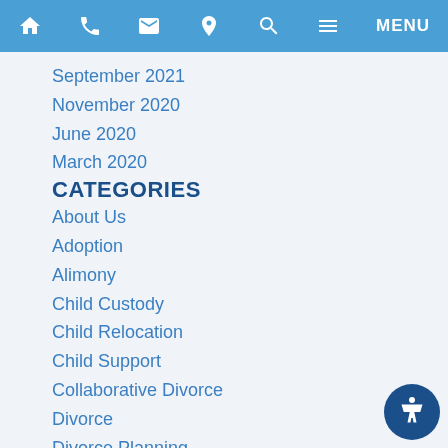Navigation bar with home, phone, email, location, search, menu icons
September 2021
November 2020
June 2020
March 2020
CATEGORIES
About Us
Adoption
Alimony
Child Custody
Child Relocation
Child Support
Collaborative Divorce
Divorce
Divorce Planning
Family Business
Family Law
Florida News
General
Injunctions